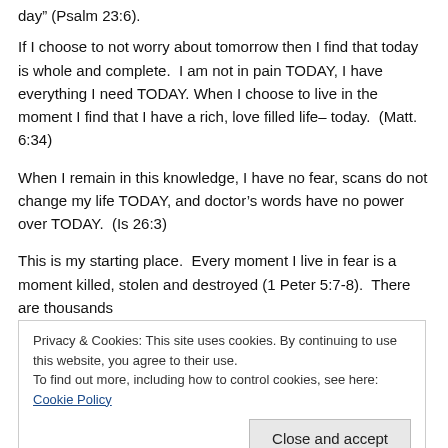day" (Psalm 23:6).
If I choose to not worry about tomorrow then I find that today is whole and complete.  I am not in pain TODAY, I have everything I need TODAY. When I choose to live in the moment I find that I have a rich, love filled life– today.  (Matt. 6:34)
When I remain in this knowledge, I have no fear, scans do not change my life TODAY, and doctor's words have no power over TODAY.  (Is 26:3)
This is my starting place.  Every moment I live in fear is a moment killed, stolen and destroyed (1 Peter 5:7-8).  There are thousands
Privacy & Cookies: This site uses cookies. By continuing to use this website, you agree to their use.
To find out more, including how to control cookies, see here: Cookie Policy
weakens me.